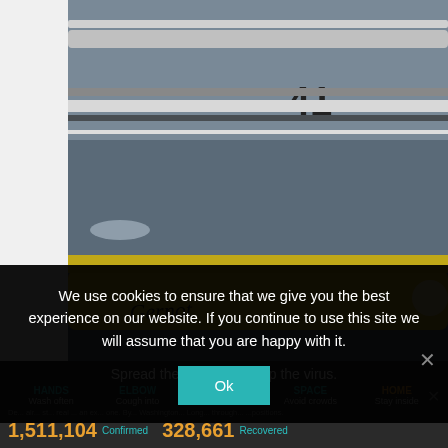[Figure (photo): Yellow racing speedboat numbered 41 on water, another boat visible in background. Boat name 'Gernot' visible on hull.]
We use cookies to ensure that we give you the best experience on our website. If you continue to use this site we will assume that you are happy with it.
Ok
Spread the message. Stop the virus.
HANDS Wash often  ELBOW Cough into  FACE Don't touch  SPACE Avoid crowds  HOME Stay inside
1,511,104 Confirmed   328,661 Recovered